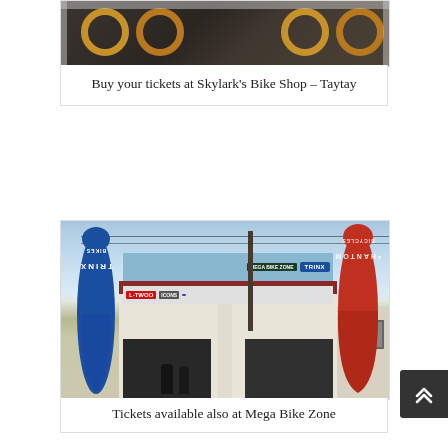[Figure (photo): Photo of Skylark's Bike Shop in Taytay showing bicycle wheels displayed in a shop window]
Buy your tickets at Skylark's Bike Shop – Taytay
[Figure (photo): Exterior photo of Mega Bike Zone shop with TRINX blue teardrop banner on the left and red PHANTOM BICYCLES teardrop banner on the right, showing bike shop signage including TRINX BIKES and L-TWOO signs]
Tickets available also at Mega Bike Zone